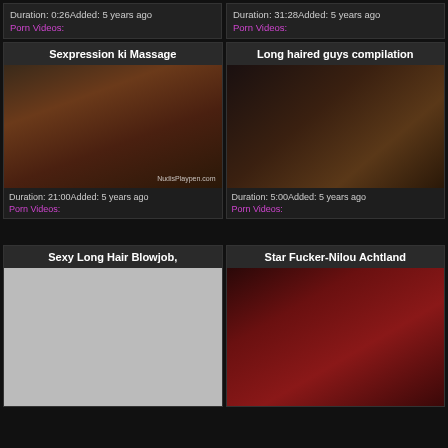Duration: 0:26Added: 5 years ago
Porn Videos:
Duration: 31:28Added: 5 years ago
Porn Videos:
Sexpression ki Massage
[Figure (photo): Video thumbnail showing a woman]
Duration: 21:00Added: 5 years ago
Porn Videos:
Long haired guys compilation
[Figure (photo): Video thumbnail]
Duration: 5:00Added: 5 years ago
Porn Videos:
Sexy Long Hair Blowjob,
[Figure (photo): Gray placeholder thumbnail]
Star Fucker-Nilou Achtland
[Figure (photo): Video thumbnail with red background]